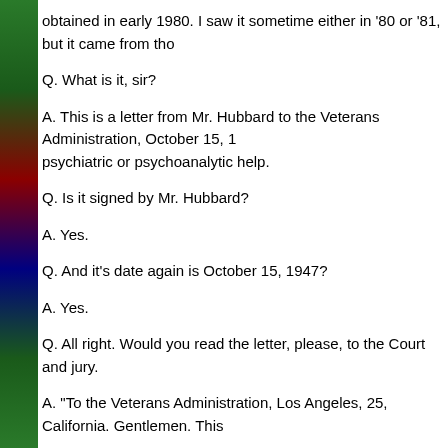obtained in early 1980. I saw it sometime either in '80 or '81, but it came from tho
Q. What is it, sir?
A. This is a letter from Mr. Hubbard to the Veterans Administration, October 15, 1 psychiatric or psychoanalytic help.
Q. Is it signed by Mr. Hubbard?
A. Yes.
Q. And it's date again is October 15, 1947?
A. Yes.
Q. All right. Would you read the letter, please, to the Court and jury.
A. "To the Veterans Administration, Los Angeles, 25, California. Gentlemen. This
"My residence is north of North Hollywood, but I attend school at Geller Theater Angeles. It would be appreciated if any outphysician selected would be located r hour and half from 1:00 to 2:30 four days each week at school. I work at night six
"I was placed on certain medication back east and have continued it at my own e
"After trying and failing for two years to regain my equilibrium in civil life, I am utt